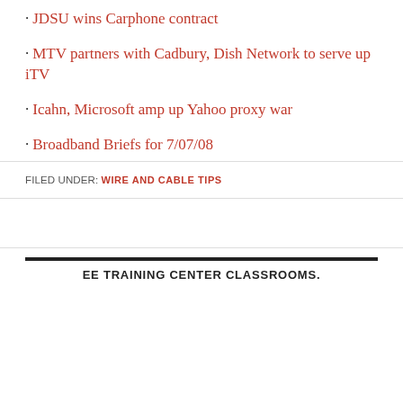• JDSU wins Carphone contract
• MTV partners with Cadbury, Dish Network to serve up iTV
• Icahn, Microsoft amp up Yahoo proxy war
• Broadband Briefs for 7/07/08
FILED UNDER: WIRE AND CABLE TIPS
EE TRAINING CENTER CLASSROOMS.